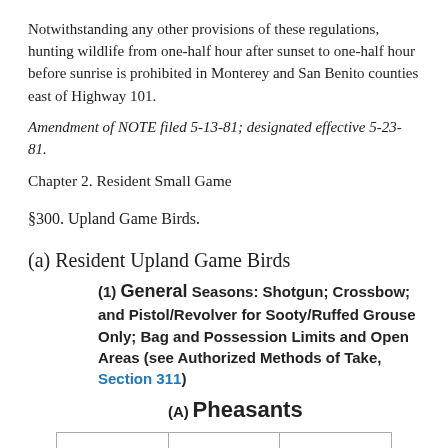Notwithstanding any other provisions of these regulations, hunting wildlife from one-half hour after sunset to one-half hour before sunrise is prohibited in Monterey and San Benito counties east of Highway 101.
Amendment of NOTE filed 5-13-81; designated effective 5-23-81.
Chapter 2. Resident Small Game
§300. Upland Game Birds.
(a) Resident Upland Game Birds
(1) General Seasons: Shotgun; Crossbow; and Pistol/Revolver for Sooty/Ruffed Grouse Only; Bag and Possession Limits and Open Areas (see Authorized Methods of Take, Section 311)
(A) Pheasants